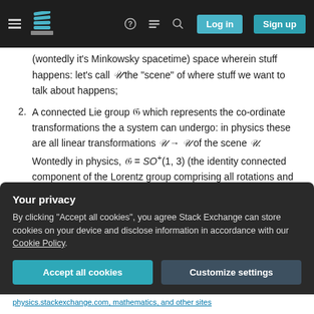Stack Exchange navigation header with login and sign up buttons
(wontedly it's Minkowsky spacetime) space wherein stuff happens: let's call U the "scene" of where stuff we want to talk about happens;
2. A connected Lie group G which represents the coordinate transformations the a system can undergo: in physics these are all linear transformations U → U of the scene U. Wontedly in physics, G = SO+(1,3) (the identity connected component of the Lorentz group comprising all rotations and boosts of "physical space", sometimes called the "proper, orthochronous Lorentz group" (proper =
Your privacy
By clicking "Accept all cookies", you agree Stack Exchange can store cookies on your device and disclose information in accordance with our Cookie Policy.
Accept all cookies | Customize settings